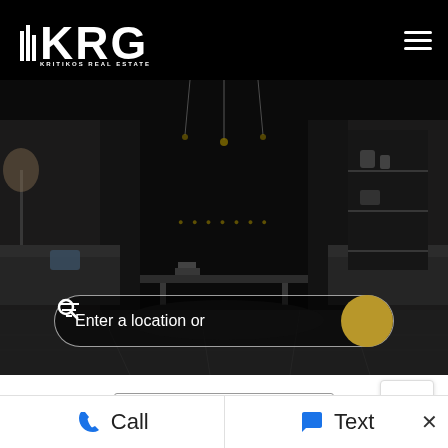KRG KRITIKOS REAL ESTATE GROUP
[Figure (screenshot): Hero image of a dark modern living room interior with pendant lights and furniture, overlaid with a semi-transparent search bar reading 'Enter a location or' with a filter icon and a gold search button]
Select Language
Powered by Google Translate
[Figure (other): Table/list view toggle icon button]
Call   Text   ×